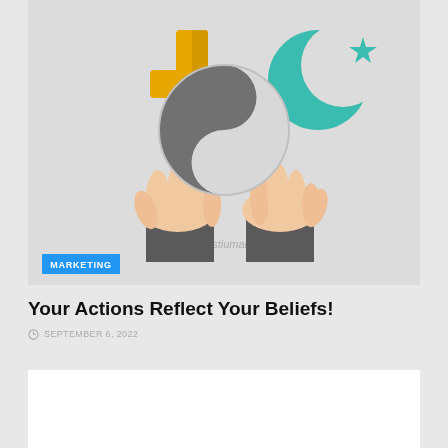[Figure (illustration): Illustration showing two open hands (palms up) with religious symbols floating above: a golden Christian cross on the left, a teal Islamic crescent moon and star on the upper right, and a yin-yang symbol in the center. A watermark text 'testiumani.i...' is visible. A blue 'MARKETING' badge is overlaid at the bottom left.]
Your Actions Reflect Your Beliefs!
SEPTEMBER 6, 2022